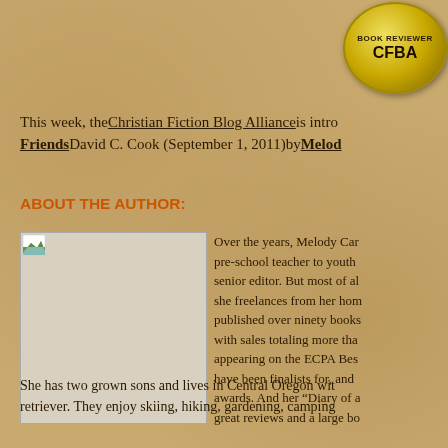[Figure (logo): CFBA Book Reviewer gold badge/seal]
This week, the Christian Fiction Blog Alliance is intro Friends David C. Cook (September 1, 2011) by Melody
ABOUT THE AUTHOR:
[Figure (photo): Author photo placeholder image]
Over the years, Melody Car pre-school teacher to youth senior editor. But most of al she freelances from her hom published over ninety books with sales totaling more tha appearing on the ECPA Bes have been finalists for, and awards. And her “Diary of a great reviews and a large bo
She has two grown sons and lives in Central Oregon with retriever. They enjoy skiing, hiking, gardening, camping